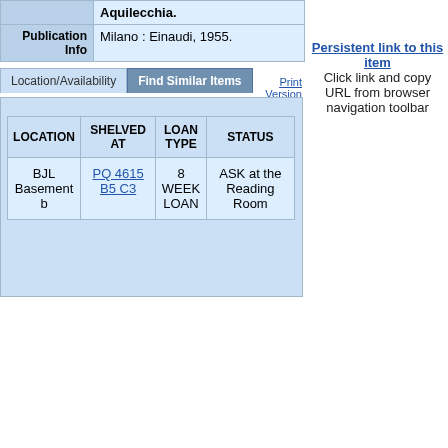|  | Aquilecchia. |
| Publication Info | Milano : Einaudi, 1955. |
| LOCATION | SHELVED AT | LOAN TYPE | STATUS |
| --- | --- | --- | --- |
| BJL Basement b | PQ 4615 B5 C3 | 8 WEEK LOAN | ASK at the Reading Room |
| Subject | Philosophy -- History. |
|  | Philosophy -- Renaissance. |
| Descript | 314p. |
| Alt author | Aquilecchia, Giovanni. |
Persistent link to this item Click link and copy URL from browser navigation toolbar